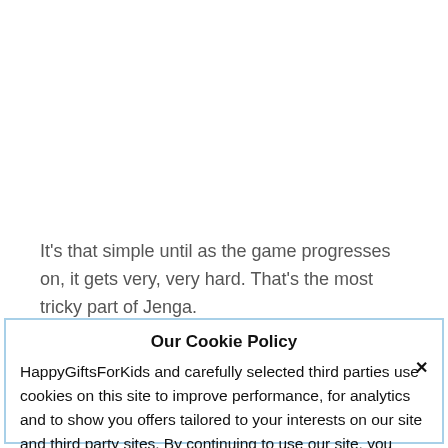It's that simple until as the game progresses on, it gets very, very hard. That's the most tricky part of Jenga.
Our Cookie Policy
HappyGiftsForKids and carefully selected third parties use cookies on this site to improve performance, for analytics and to show you offers tailored to your interests on our site and third party sites. By continuing to use our site, you consent to our use of cookies. Privacy Policy